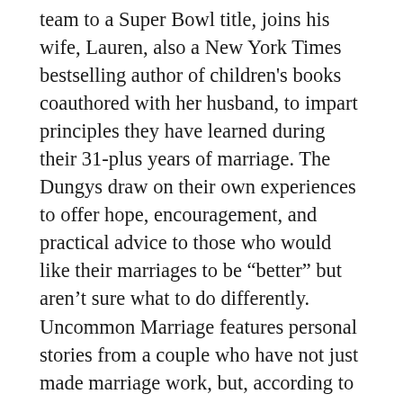team to a Super Bowl title, joins his wife, Lauren, also a New York Times bestselling author of children's books coauthored with her husband, to impart principles they have learned during their 31-plus years of marriage. The Dungys draw on their own experiences to offer hope, encouragement, and practical advice to those who would like their marriages to be “better” but aren’t sure what to do differently. Uncommon Marriage features personal stories from a couple who have not just made marriage work, but, according to the Dungys, also have done so joyfully and with a sense of purpose and partnership. Through their stories, the Dungys relate real-life lessons they’ve learned about developing and maintaining a strong, fulfilling, faith-filled marriage. Tony Dungy is the No. 1 New York Times bestselling author of Quiet Strength, Uncommon, and The